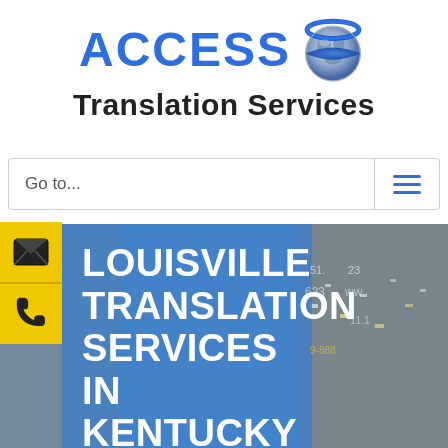[Figure (logo): Access Translation Services logo: blue bold 'ACCESS' text with a globe icon featuring a blue band, and 'Translation Services' in dark bold text below]
Go to...
[Figure (infographic): Navigation bar with 'Go to...' placeholder text on the left and a hamburger menu icon (three horizontal lines) on the right]
[Figure (infographic): Yellow sidebar buttons: top button has an envelope/contact icon, bottom button has a phone icon]
LOUISVILLE TRANSLATION SERVICES IN KENTUCKY